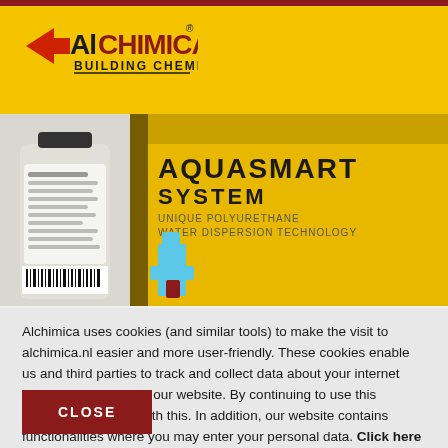[Figure (logo): Alchimica Building Chemicals logo with red arrow and yellow/black text]
[Figure (photo): Product photo showing Aquasmart System chemical bottles with yellow labels]
Alchimica uses cookies (and similar tools) to make the visit to alchimica.nl easier and more user-friendly. These cookies enable us and third parties to track and collect data about your internet usage patterns within our website. By continuing to use this website, you agree with this. In addition, our website contains functionalities where you may enter your personal data. Click here for more information about the processing of your data.
CLOSE